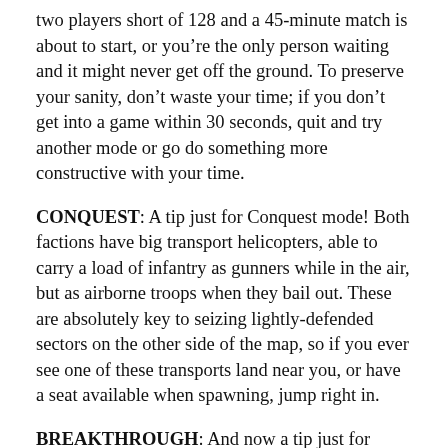two players short of 128 and a 45-minute match is about to start, or you're the only person waiting and it might never get off the ground. To preserve your sanity, don't waste your time; if you don't get into a game within 30 seconds, quit and try another mode or go do something more constructive with your time.
CONQUEST: A tip just for Conquest mode! Both factions have big transport helicopters, able to carry a load of infantry as gunners while in the air, but as airborne troops when they bail out. These are absolutely key to seizing lightly-defended sectors on the other side of the map, so if you ever see one of these transports land near you, or have a seat available when spawning, jump right in.
BREAKTHROUGH: And now a tip just for Breakthrough mode! While these games have designated attackers and defenders, the latter must try and take the offensive from time to time. If there aren't at least attempts made to